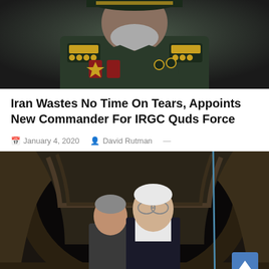[Figure (photo): Close-up photo of an Iranian military officer in dark green uniform with gold insignia and rank badges on the shoulders and chest]
Iran Wastes No Time On Tears, Appoints New Commander For IRGC Quds Force
January 4, 2020   David Rutman —
[Figure (photo): Two elderly men in suits standing inside a large concrete tunnel or underground passage, viewed from inside the tunnel entrance]